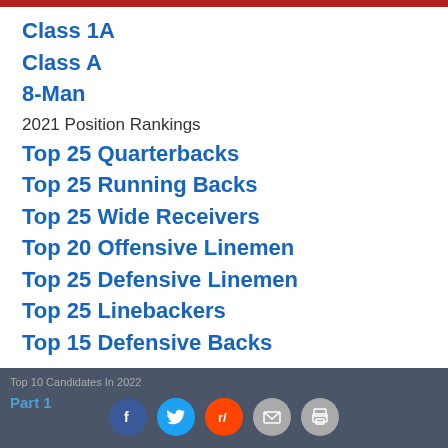Class 1A
Class A
8-Man
2021 Position Rankings
Top 25 Quarterbacks
Top 25 Running Backs
Top 25 Wide Receivers
Top 20 Offensive Linemen
Top 25 Defensive Linemen
Top 25 Linebackers
Top 15 Defensive Backs
Top 10 Candidates In 2022
Part 1